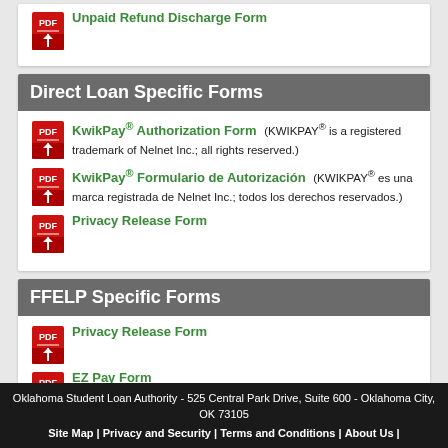Unpaid Refund Discharge Form
Direct Loan Specific Forms
KwikPay® Authorization Form (KWIKPAY® is a registered trademark of Nelnet Inc.; all rights reserved.)
KwikPay® Formulario de Autorización (KWIKPAY® es una marca registrada de Nelnet Inc.; todos los derechos reservados.)
Privacy Release Form
FFELP Specific Forms
Privacy Release Form
EZ Pay Form
Oklahoma Student Loan Authority - 525 Central Park Drive, Suite 600 - Oklahoma City, OK 73105
Site Map | Privacy and Security | Terms and Conditions | About Us |